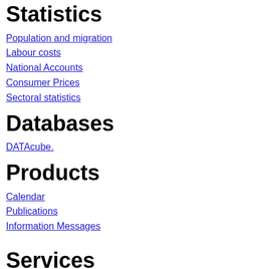Statistics
Population and migration
Labour costs
National Accounts
Consumer Prices
Sectoral statistics
Databases
DATAcube.
Products
Calendar
Publications
Information Messages
Services